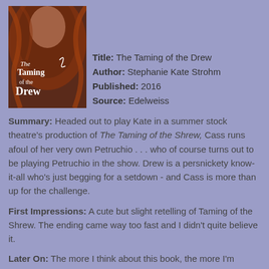[Figure (illustration): Book cover for 'The Taming of the Drew' showing a woman with auburn hair and decorative text]
Title: The Taming of the Drew
Author: Stephanie Kate Strohm
Published: 2016
Source: Edelweiss
Summary: Headed out to play Kate in a summer stock theatre's production of The Taming of the Shrew, Cass runs afoul of her very own Petruchio . . . who of course turns out to be playing Petruchio in the show. Drew is a persnickety know-it-all who's just begging for a setdown - and Cass is more than up for the challenge.
First Impressions: A cute but slight retelling of Taming of the Shrew. The ending came way too fast and I didn't quite believe it.
Later On: The more I think about this book, the more I'm coming down on the "meh" side. While Drew was pretty charming at the center of the novel, Cass also had her...